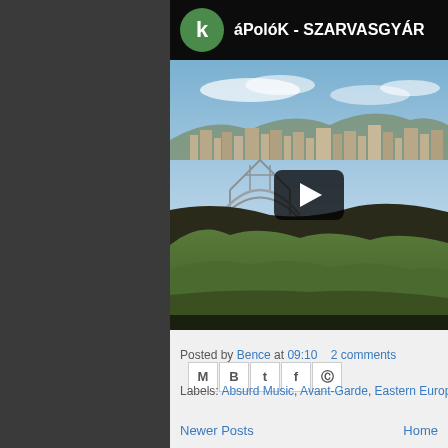[Figure (screenshot): YouTube video embed showing 'áPolóK - SZARVASGYÁR' with a green channel icon with letter k, video thumbnail showing an industrial/landscape scene with trees and buildings, and a play button overlay]
Posted by Bence at 09:10   2 comments
Labels: Absurd Music, Avant-Garde, Eastern Europe, Hungarian Undergro...
Newer Posts   Home